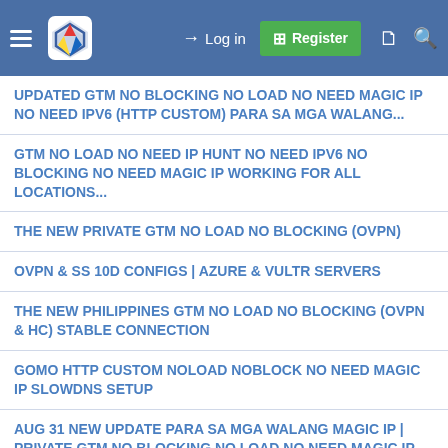Log in | Register
UPDATED GTM NO BLOCKING NO LOAD NO NEED MAGIC IP NO NEED IPV6 (HTTP CUSTOM) PARA SA MGA WALANG...
GTM NO LOAD NO NEED IP HUNT NO NEED IPV6 NO BLOCKING NO NEED MAGIC IP WORKING FOR ALL LOCATIONS...
THE NEW PRIVATE GTM NO LOAD NO BLOCKING (OVPN)
OVPN & SS 10D CONFIGS | AZURE & VULTR SERVERS
THE NEW PHILIPPINES GTM NO LOAD NO BLOCKING (OVPN & HC) STABLE CONNECTION
GOMO HTTP CUSTOM NOLOAD NOBLOCK NO NEED MAGIC IP SLOWDNS SETUP
AUG 31 NEW UPDATE PARA SA MGA WALANG MAGIC IP | PRIVATE GTM NO BLOCKING NO LOAD NO NEED MAGIC IP...
GTM NO LOAD NO BLOCKING PRIVATE SERVER HTTP CUSTOM
SHADOWSOCKS NOLOAD NOBLOCK